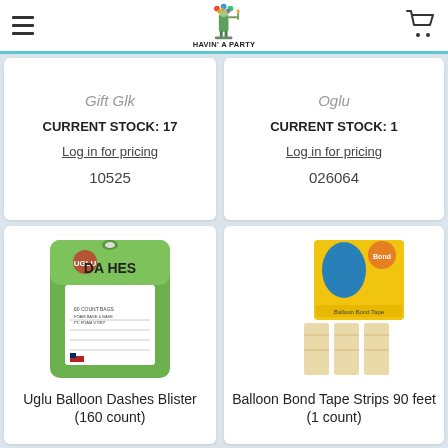Havin' A Party - navigation header with hamburger menu and cart
Gift Glk
CURRENT STOCK: 17
Log in for pricing
10525
Oglu
CURRENT STOCK: 1
Log in for pricing
026064
[Figure (photo): Uglu Balloon Dashes Blister pack (160 count), green packaging]
Uglu Balloon Dashes Blister (160 count)
[Figure (photo): Balloon Bond Tape Strips 90 feet (1 count), yellow packaging with blue balloon]
Balloon Bond Tape Strips 90 feet (1 count)